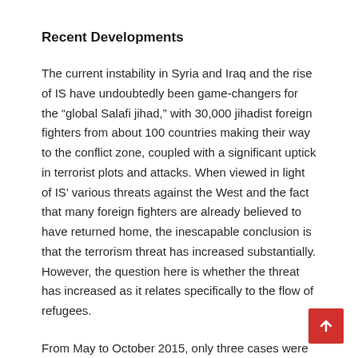Recent Developments
The current instability in Syria and Iraq and the rise of IS have undoubtedly been game-changers for the “global Salafi jihad,” with 30,000 jihadist foreign fighters from about 100 countries making their way to the conflict zone, coupled with a significant uptick in terrorist plots and attacks. When viewed in light of IS’ various threats against the West and the fact that many foreign fighters are already believed to have returned home, the inescapable conclusion is that the terrorism threat has increased substantially. However, the question here is whether the threat has increased as it relates specifically to the flow of refugees.
From May to October 2015, only three cases were reported in detail involving alleged jihadi terrorists “disguised” as refugees. However, the first of these